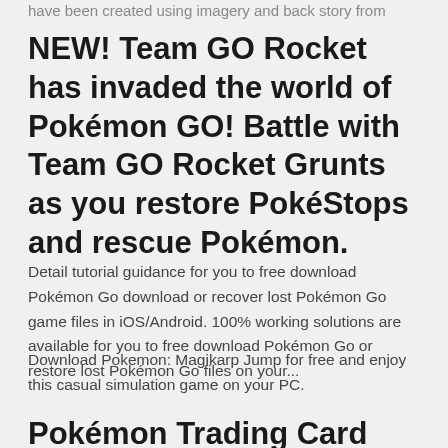have been created using imagery and back story from
NEW! Team GO Rocket has invaded the world of Pokémon GO! Battle with Team GO Rocket Grunts as you restore PokéStops and rescue Pokémon.
Detail tutorial guidance for you to free download Pokémon Go download or recover lost Pokémon Go game files in iOS/Android. 100% working solutions are available for you to free download Pokémon Go or restore lost Pokémon Go files on your...
Download Pokemon: Magikarp Jump for free and enjoy this casual simulation game on your PC.
Pokémon Trading Card Game has long